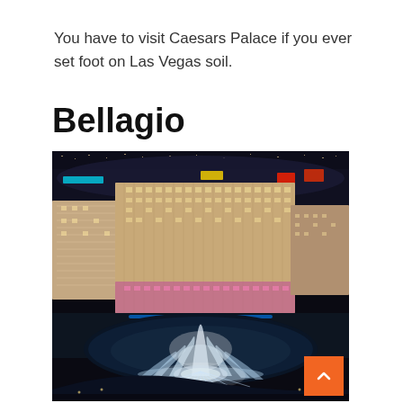You have to visit Caesars Palace if you ever set foot on Las Vegas soil.
Bellagio
[Figure (photo): Aerial night view of the Bellagio hotel and casino in Las Vegas, showing the illuminated building facade and the famous Bellagio fountains performing in the foreground, with the Las Vegas Strip visible in the background.]